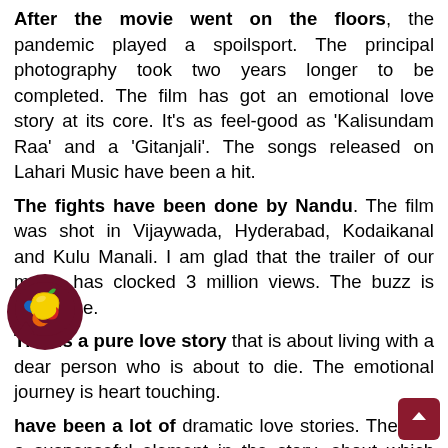After the movie went on the floors, the pandemic played a spoilsport. The principal photography took two years longer to be completed. The film has got an emotional love story at its core. It's as feel-good as 'Kalisundam Raa' and a 'Gitanjali'. The songs released on Lahari Music have been a hit.
The fights have been done by Nandu. The film was shot in Vijaywada, Hyderabad, Kodaikanal and Kulu Manali. I am glad that the trailer of our movie has clocked 3 million views. The buzz is awesome.
This is a pure love story that is about living with a dear person who is about to die. The emotional journey is heart touching.
There have been a lot of dramatic love stories. There is a suspenseful element in the story, about which nobody knows as yet. I can't reveal it now. I can say that the audience will feel entertained. Everyone will connect w